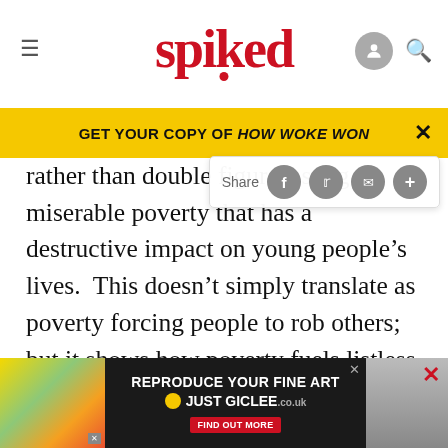spiked
GET YOUR COPY OF HOW WOKE WON
rather than double figures, sugg… miserable poverty that has a destructive impact on young people's lives. This doesn't simply translate as poverty forcing people to rob others; but it shows how poverty fuels listless boredom as well as generating a fatalistic and even nihilistic outlook on life in general.

Far from materialism leading to a breakdown in morals…
[Figure (screenshot): Advertisement banner: REPRODUCE YOUR FINE ART / JUST GICLEE with FIND OUT MORE button]
ABOUT